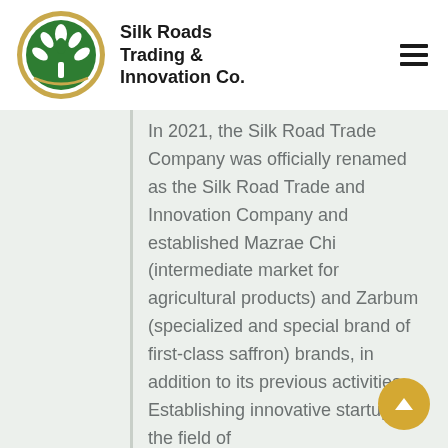[Figure (logo): Silk Roads Trading & Innovation Co. circular logo with green tree and gold border]
Silk Roads Trading & Innovation Co.
In 2021, the Silk Road Trade Company was officially renamed as the Silk Road Trade and Innovation Company and established Mazrae Chi (intermediate market for agricultural products) and Zarbum (specialized and special brand of first-class saffron) brands, in addition to its previous activities. Establishing innovative startups in the field of